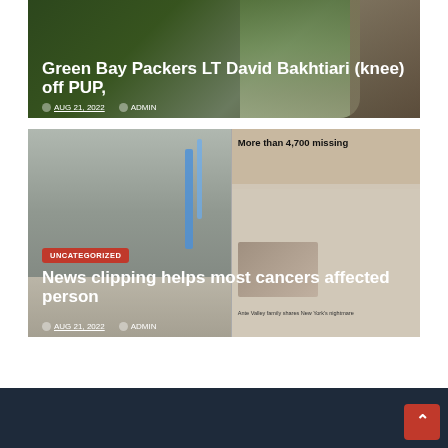[Figure (photo): Green Bay Packers player photo with dark overlay showing headline text]
Green Bay Packers LT David Bakhtiari (knee) off PUP,
AUG 21, 2022  ADMIN
[Figure (photo): Hospital patient in bed on left, newspaper clipping showing 'More than 4,700 missing' headline on right]
UNCATEGORIZED
News clipping helps most cancers affected person
AUG 21, 2022  ADMIN
scroll to top button